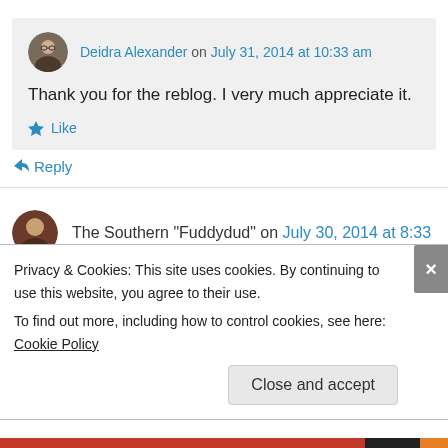Deidra Alexander on July 31, 2014 at 10:33 am
Thank you for the reblog. I very much appreciate it.
Like
Reply
The Southern "Fuddydud" on July 30, 2014 at 8:33
Privacy & Cookies: This site uses cookies. By continuing to use this website, you agree to their use.
To find out more, including how to control cookies, see here: Cookie Policy
Close and accept